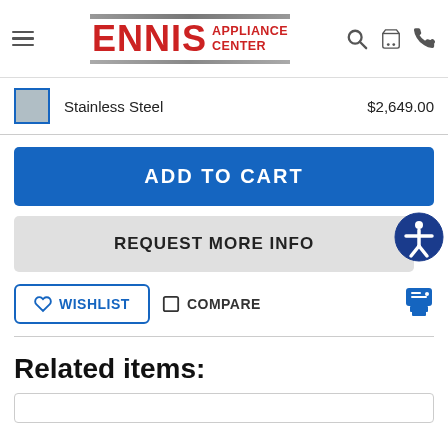[Figure (logo): Ennis Appliance Center logo with red bold text and gray horizontal bars]
Stainless Steel    $2,649.00
ADD TO CART
REQUEST MORE INFO
WISHLIST
COMPARE
Related items: